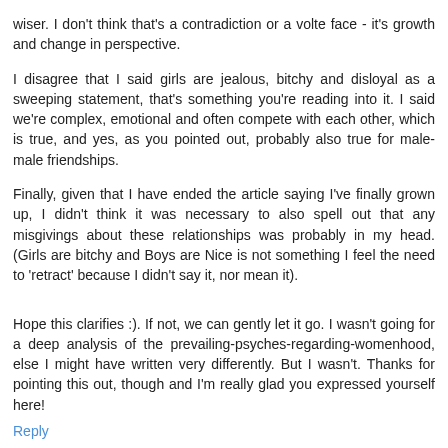wiser. I don't think that's a contradiction or a volte face - it's growth and change in perspective.
I disagree that I said girls are jealous, bitchy and disloyal as a sweeping statement, that's something you're reading into it. I said we're complex, emotional and often compete with each other, which is true, and yes, as you pointed out, probably also true for male-male friendships.
Finally, given that I have ended the article saying I've finally grown up, I didn't think it was necessary to also spell out that any misgivings about these relationships was probably in my head. (Girls are bitchy and Boys are Nice is not something I feel the need to 'retract' because I didn't say it, nor mean it).
Hope this clarifies :). If not, we can gently let it go. I wasn't going for a deep analysis of the prevailing-psyches-regarding-womenhood, else I might have written very differently. But I wasn't. Thanks for pointing this out, though and I'm really glad you expressed yourself here!
Reply